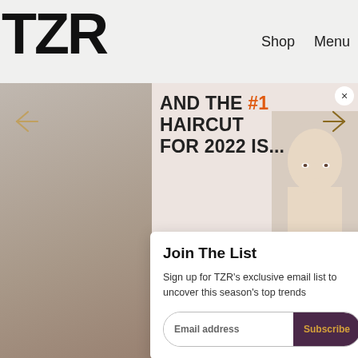TZR  Shop  Menu
[Figure (screenshot): TZR website header with logo on left and Shop/Menu navigation on right, on a light grey background]
[Figure (photo): Article card with beige/pink background showing headline AND THE #1 HAIRCUT FOR 2022 IS... with a woman's face photo on the right]
AND THE #1 HAIRCUT FOR 2022 IS...
Join The List
Sign up for TZR's exclusive email list to uncover this season's top trends
Email address  Subscribe